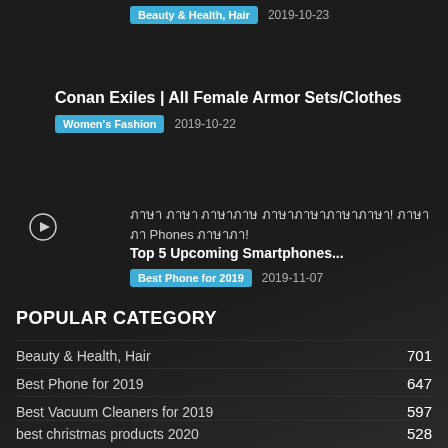Beauty & Health, Hair  2019-10-23
Conan Exiles | All Female Armor Sets/Clothes
Women's Fashion  2019-10-22
ภาษา ภาษา ภาษาภาษ ภาษาภาษาภาษาภาษา! ภาษาภา Phones ภาษาภา! Top 5 Upcoming Smartphones...
Best Phone for 2019  2019-11-07
POPULAR CATEGORY
Beauty & Health, Hair  701
Best Phone for 2019  647
Best Vacuum Cleaners for 2019  597
best christmas products 2020  528
Best Products of 2021  457